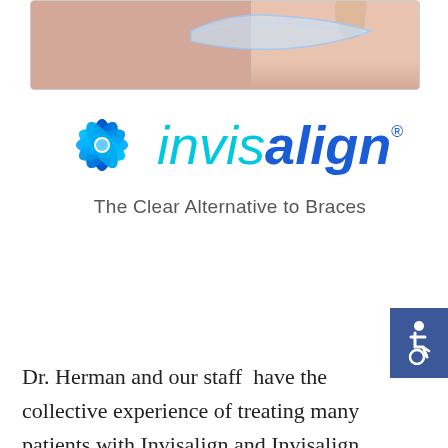[Figure (photo): Close-up photo of a person's mouth area holding a clear dental aligner/retainer with fingers]
[Figure (logo): Invisalign logo — blue flower/asterisk icon with 'invisalign' text in cyan and blue italic font, with registered trademark symbol. Tagline: 'The Clear Alternative to Braces']
[Figure (other): Accessibility icon (wheelchair symbol) on a dark blue square button, positioned at the right edge of the page]
Dr. Herman and our staff have the collective experience of treating many patients with Invisalign and Invisalign Teen. We are in the Top 1% of Invisalign Providers in the country. It...